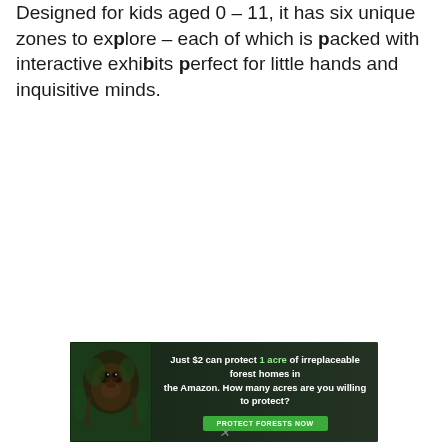Designed for kids aged 0 – 11, it has six unique zones to explore – each of which is packed with interactive exhibits perfect for little hands and inquisitive minds.
[Figure (infographic): Advertisement banner for Amazon forest protection charity. Dark green background with sloth/animal image on left. Text reads: 'Just $2 can protect 1 acre of irreplaceable forest homes in the Amazon. How many acres are you willing to protect?' with a green 'PROTECT FORESTS NOW' button.]